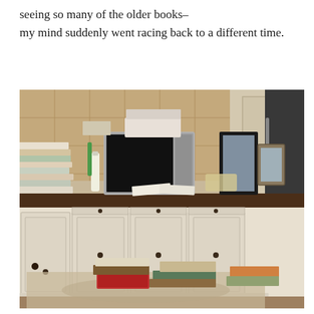seeing so many of the older books–
my mind suddenly went racing back to a different time.
[Figure (photo): A kitchen counter loaded with stacks of books on the left side, a stainless steel microwave, framed photos, papers, and various items on the countertop. White cabinets with dark hardware below. More books are scattered on the floor in the foreground. A patterned rug and hardwood floor are visible. A dark refrigerator is on the right side.]